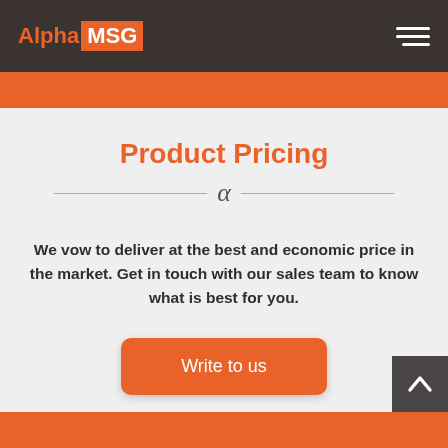Alpha MSG
Product Pricing
We vow to deliver at the best and economic price in the market. Get in touch with our sales team to know what is best for you.
Write to us